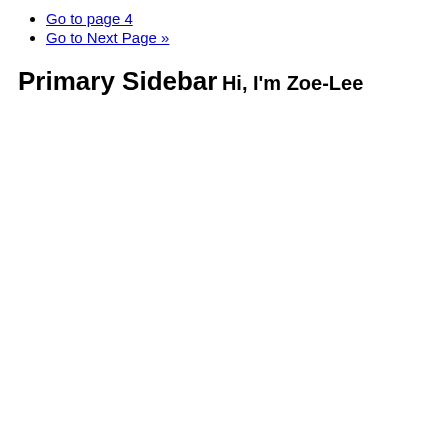Go to page 4
Go to Next Page »
Primary Sidebar
Hi, I'm Zoe-Lee